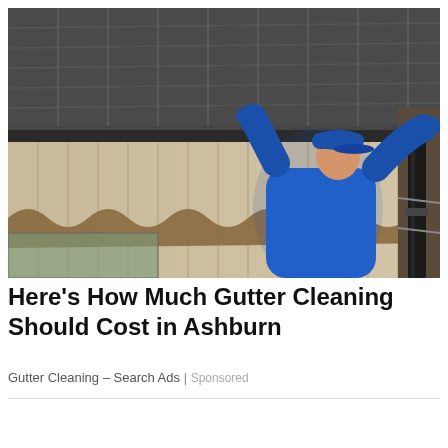[Figure (photo): A man in a blue polo shirt and blue cap wearing blue work gloves, climbing a ladder and cleaning or installing gutters on a house with metal roofing and beige siding, against a partly cloudy blue sky.]
Here's How Much Gutter Cleaning Should Cost in Ashburn
Gutter Cleaning – Search Ads | Sponsored